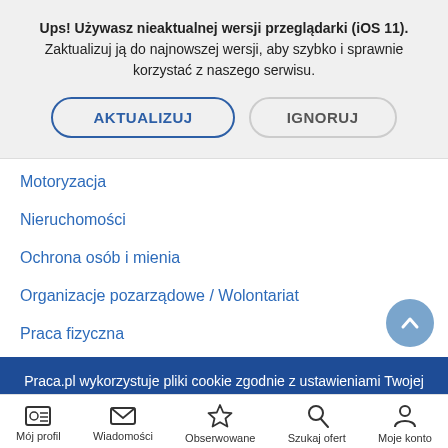Ups! Używasz nieaktualnej wersji przeglądarki (iOS 11). Zaktualizuj ją do najnowszej wersji, aby szybko i sprawnie korzystać z naszego serwisu.
[Figure (screenshot): Two buttons: AKTUALIZUJ (update, blue border) and IGNORUJ (ignore, gray border)]
Motoryzacja
Nieruchomości
Ochrona osób i mienia
Organizacje pozarządowe / Wolontariat
Praca fizyczna
Praca.pl wykorzystuje pliki cookie zgodnie z ustawieniami Twojej przeglądarki internetowej. Szczegółowe informacje na temat cookie znajdziesz w polityce prywatności. Zamknij
Mój profil | Wiadomości | Obserwowane | Szukaj ofert | Moje konto